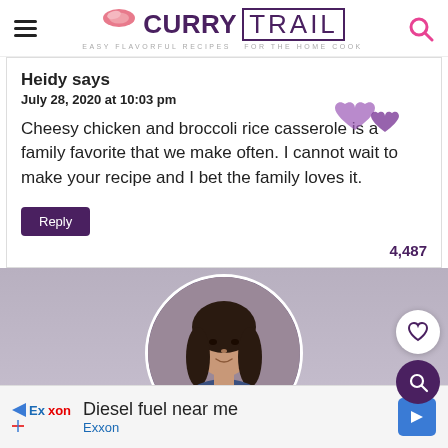Curry Trail — Easy Flavorful Recipes For The Home Cook
Heidy says
July 28, 2020 at 10:03 pm

Cheesy chicken and broccoli rice casserole is a family favorite that we make often. I cannot wait to make your recipe and I bet the family loves it.
Reply
4,487
[Figure (photo): Circular profile photo of a woman with dark hair, against a light background]
Diesel fuel near me
Exxon